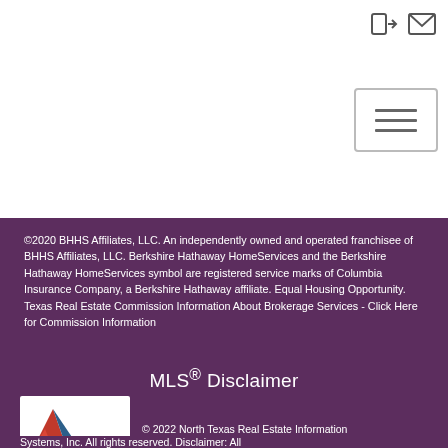©2020 BHHS Affiliates, LLC. An independently owned and operated franchisee of BHHS Affiliates, LLC. Berkshire Hathaway HomeServices and the Berkshire Hathaway HomeServices symbol are registered service marks of Columbia Insurance Company, a Berkshire Hathaway affiliate. Equal Housing Opportunity. Texas Real Estate Commission Information About Brokerage Services - Click Here for Commission Information
MLS® Disclaimer
[Figure (logo): NTREIS logo - a triangular red and blue design with 'ntreis' text below]
© 2022 North Texas Real Estate Information Systems, Inc. All rights reserved. Disclaimer: All